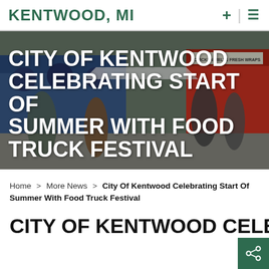KENTWOOD, MI
[Figure (photo): Food truck festival scene with food trucks and people outdoors on a sunny day. Overlay title text reads: CITY OF KENTWOOD CELEBRATING START OF SUMMER WITH FOOD TRUCK FESTIVAL]
Home > More News > City Of Kentwood Celebrating Start Of Summer With Food Truck Festival
CITY OF KENTWOOD CELEBRATING...